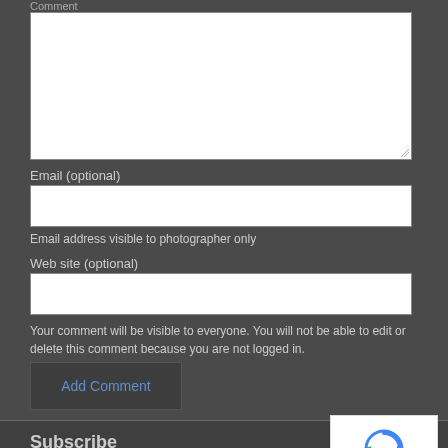Comment
[Figure (screenshot): Comment textarea input box (white, empty)]
Email (optional)
[Figure (screenshot): Email text input box (white, empty)]
Email address visible to photographer only
Web site (optional)
[Figure (screenshot): Web site text input box (white, empty)]
Your comment will be visible to everyone. You will not be able to edit or delete this comment because you are not logged in.
Add Comment
Subscribe
RSS
Recent Posts
[Figure (screenshot): reCAPTCHA widget with spinning arrows logo, showing Privacy and Terms links]